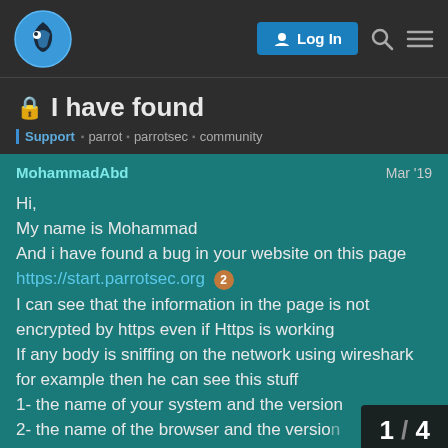Parrot Security forum navigation bar with Log In button
🔒 I have found
Support  parrot  parrotsec  community
MohammadAbd   Mar '19

Hi,
My name is Mohammad
And i have found a bug in your website on this page
https://start.parrotsec.org 2
I can see that the information in the page is not encrypted by https even if Https is working
If any body is sniffing on the network using wireshark for example then he can see this stuff
1- the name of your system and the version
2- the name of the browser and the version
3- the Ip adress
4- and the type of the web browser
1 / 4